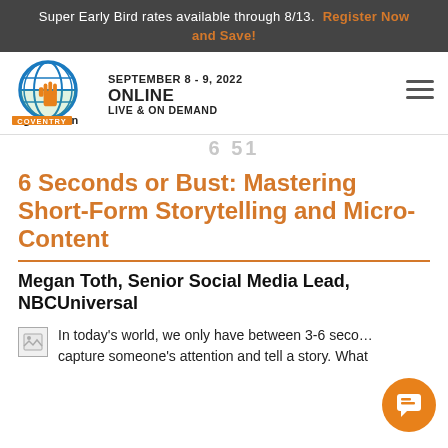Super Early Bird rates available through 8/13. Register Now and Save!
[Figure (logo): DigiMarCon Coventry Digital Marketing Conference logo with globe and hand pointer icon]
SEPTEMBER 8 - 9, 2022
ONLINE LIVE & ON DEMAND
6 51
6 Seconds or Bust: Mastering Short-Form Storytelling and Micro-Content
Megan Toth, Senior Social Media Lead, NBCUniversal
In today's world, we only have between 3-6 seco... capture someone's attention and tell a story. What